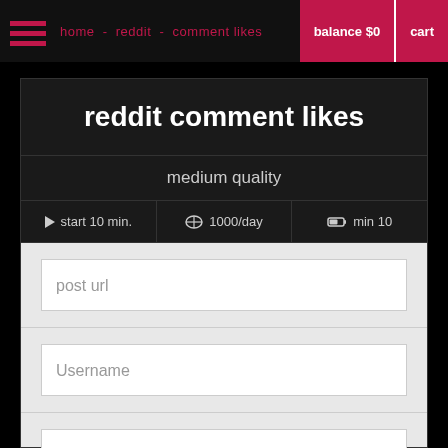home - reddit - comment likes | balance $0 | cart
reddit comment likes
medium quality
start 10 min. | 1000/day | min 10
post url
Username
quantity